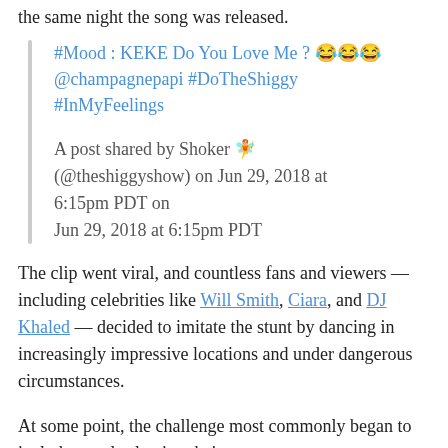the same night the song was released.
#Mood : KEKE Do You Love Me ? 😂😂😂 @champagnepapi #DoTheShiggy #InMyFeelings

A post shared by Shoker 🧚 (@theshiggyshow) on Jun 29, 2018 at 6:15pm PDT on Jun 29, 2018 at 6:15pm PDT
The clip went viral, and countless fans and viewers — including celebrities like Will Smith, Ciara, and DJ Khaled — decided to imitate the stunt by dancing in increasingly impressive locations and under dangerous circumstances.
At some point, the challenge most commonly began to include people slowing their cars to